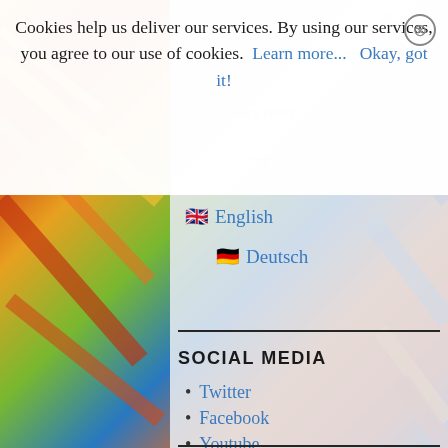[Figure (screenshot): Colorful abstract blurred brush-stroke background image with yellows, oranges, reds, greens, and blues]
Cookies help us deliver our services. By using our services, you agree to our use of cookies. Learn more... Okay, got it!
🇬🇧 English
🇩🇪 Deutsch
SOCIAL MEDIA
Twitter
Facebook
Youtube